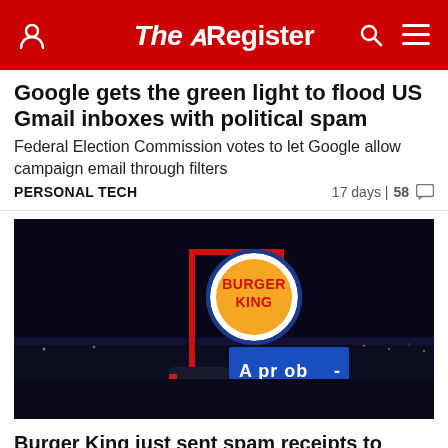The Register
Google gets the green light to flood US Gmail inboxes with political spam
Federal Election Commission votes to let Google allow campaign email through filters
PERSONAL TECH   17 days | 58
[Figure (photo): Nighttime photo of a Burger King sign illuminated against a dark sky, with a blue LED display sign below it partially showing text 'A prob']
Burger King just sent spam receipts to